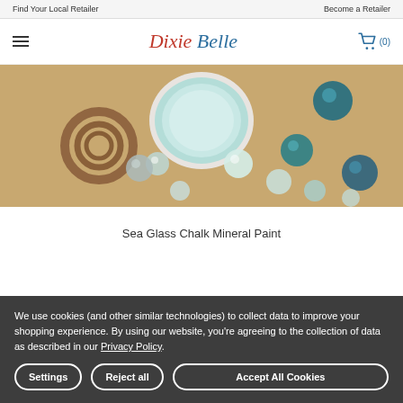Find Your Local Retailer    Become a Retailer
Dixie Belle
[Figure (photo): Close-up photo of a round tin of light seafoam/teal paint (lid open) surrounded by glass pebbles in various shades of blue and teal, shells, and a coiled rope knot on a sandy/cork surface.]
Sea Glass Chalk Mineral Paint
We use cookies (and other similar technologies) to collect data to improve your shopping experience. By using our website, you're agreeing to the collection of data as described in our Privacy Policy.
Settings
Reject all
Accept All Cookies